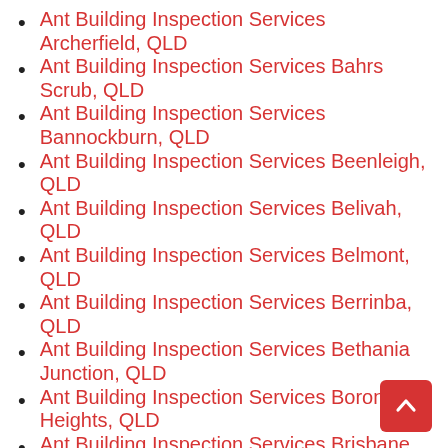Ant Building Inspection Services Archerfield, QLD
Ant Building Inspection Services Bahrs Scrub, QLD
Ant Building Inspection Services Bannockburn, QLD
Ant Building Inspection Services Beenleigh, QLD
Ant Building Inspection Services Belivah, QLD
Ant Building Inspection Services Belmont, QLD
Ant Building Inspection Services Berrinba, QLD
Ant Building Inspection Services Bethania Junction, QLD
Ant Building Inspection Services Boronia Heights, QLD
Ant Building Inspection Services Brisbane CBD, QLD
Ant Building Inspection Services Brisbane City, QLD
Ant Building Inspection Services Brisbane, QLD
Ant Building Inspection Services Bromfleet, QLD
Ant Building Inspection Services Browns Plains, QLD